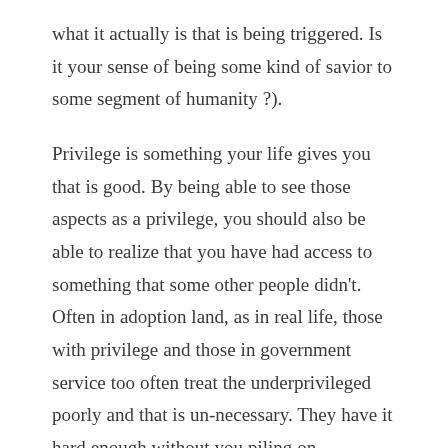what it actually is that is being triggered. Is it your sense of being some kind of savior to some segment of humanity ?).
Privilege is something your life gives you that is good. By being able to see those aspects as a privilege, you should also be able to realize that you have had access to something that some other people didn't.  Often in adoption land, as in real life, those with privilege and those in government service too often treat the underprivileged poorly and that is un-necessary. They have it hard enough without you piling on.
The truth is, adoptive parents hold the dominant view in society. Their perspectives rule when it comes to creating the perceptions that people with no experience